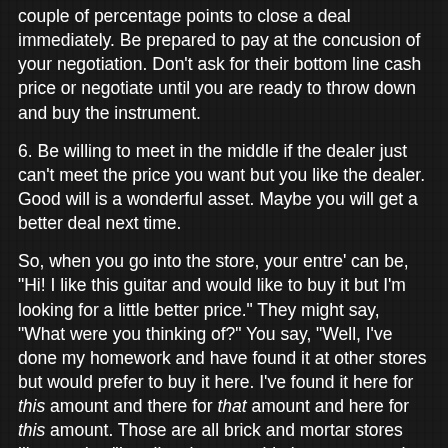couple of percentage points to close a deal immediately. Be prepared to pay at the concusion of your negotiation. Don't ask for their bottom line cash price or negotiate until you are ready to throw down and buy the instrument.
6. Be willing to meet in the middle if the dealer just can't meet the price you want but you like the dealer. Good will is a wonderful asset. Maybe you will get a better deal next time.
So, when you go into the store, your entre' can be, "Hi! I like this guitar and would like to buy it but I'm looking for a little better price." They might say, "What were you thinking of?" You say, "Well, I've done my homework and have found it at other stores but would prefer to buy it here. I've found it here for this amount and there for that amount and here for this amount. Those are all brick and mortar stores like you (or, "I realize those are big box stores and can allow "$x.xx" difference to keep your doors open"). Can you match those prices, please?" When you use these techniques you set up the table so that both parties can feel good about the negotiations and the deal.
It's a win-win. Your dealer will love you for it and welcome the sight of you next time you enter the store: "Hey, howya